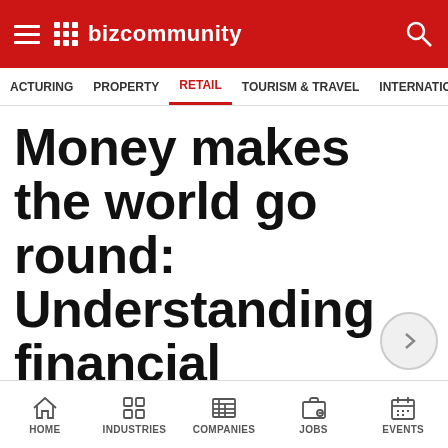Bizcommunity
ACTURING  PROPERTY  RETAIL  TOURISM & TRAVEL  INTERNATIONAL
Money makes the world go round: Understanding financial behaviour in South Africa